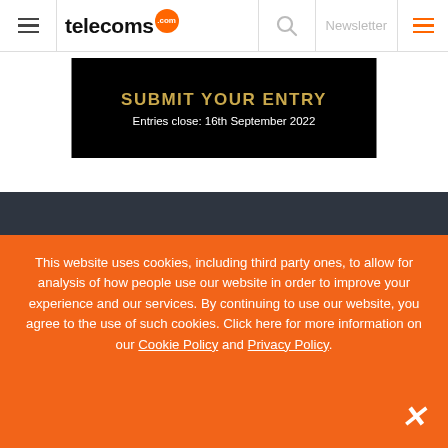telecoms.com — Newsletter
[Figure (other): Advertisement banner: SUBMIT YOUR ENTRY — Entries close: 16th September 2022, black background with gold text]
This website uses cookies, including third party ones, to allow for analysis of how people use our website in order to improve your experience and our services. By continuing to use our website, you agree to the use of such cookies. Click here for more information on our Cookie Policy and Privacy Policy.